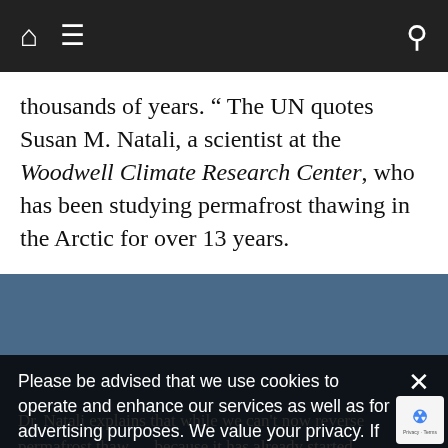Navigation bar with home, menu, and search icons
thousands of years. “ The UN quotes Susan M. Natali, a scientist at the Woodwell Climate Research Center, who has been studying permafrost thawing in the Arctic for over 13 years.
Dr. Natali explains that while we can’t now reverse permafrost thaw — because it has already started — ambition is key to avoid the worst of it.” Hers is a sobering conclusion.
Please be advised that we use cookies to operate and enhance our services as well as for advertising purposes. We value your privacy. If you are not comfortable with us using this information, please review your settings before continuing your visit.
Manage your navigation settings
Find out more
future scenarios (for instance, at different carbon emissions and subsequent warming), we’re going to lose, you know, probably 25 per cent of surface permafrost, and then some of the carbon that’s there will go to the atmosphere. But this is much better than less ambitious scenarios which cou…